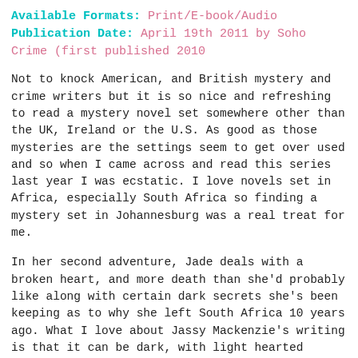Available Formats: Print/E-book/Audio
Publication Date: April 19th 2011 by Soho Crime (first published 2010
Not to knock American, and British mystery and crime writers but it is so nice and refreshing to read a mystery novel set somewhere other than the UK, Ireland or the U.S. As good as those mysteries are the settings seem to get over used and so when I came across and read this series last year I was ecstatic. I love novels set in Africa, especially South Africa so finding a mystery set in Johannesburg was a real treat for me.
In her second adventure, Jade deals with a broken heart, and more death than she'd probably like along with certain dark secrets she's been keeping as to why she left South Africa 10 years ago. What I love about Jassy Mackenzie's writing is that it can be dark, with light hearted moments but she makes her stories and characters realistic. She confronts the dark side of what people will do for love and money and plain old revenge in a great way.